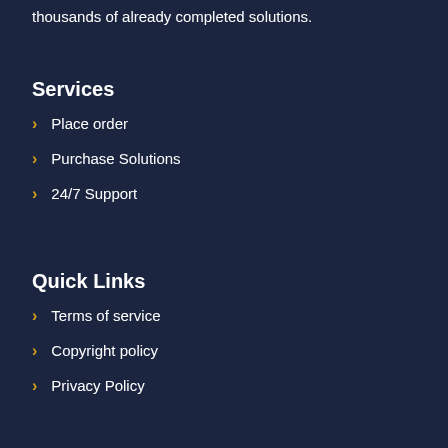thousands of already completed solutions.
Services
Place order
Purchase Solutions
24/7 Support
Quick Links
Terms of service
Copyright policy
Privacy Policy